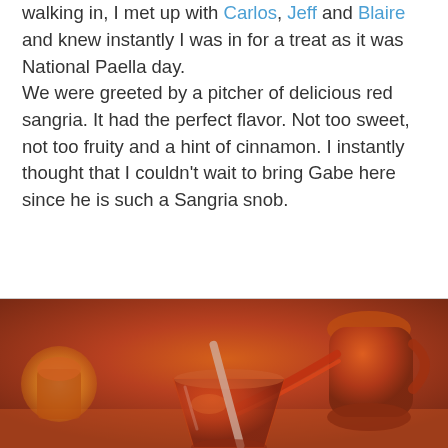walking in, I met up with Carlos, Jeff and Blaire and knew instantly I was in for a treat as it was National Paella day.
We were greeted by a pitcher of delicious red sangria. It had the perfect flavor. Not too sweet, not too fruity and a hint of cinnamon. I instantly thought that I couldn't wait to bring Gabe here since he is such a Sangria snob.
[Figure (photo): A glass of red sangria with a clear straw being poured from an orange/terracotta pitcher, with a candle in the background on a table.]